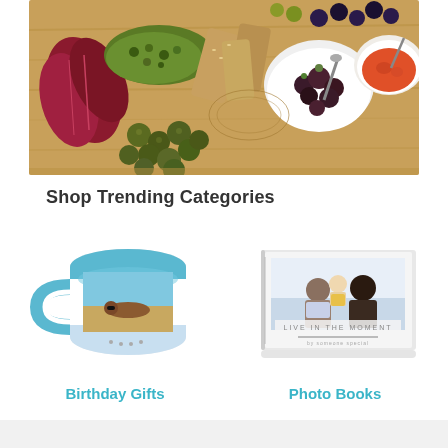[Figure (photo): Overhead photo of a charcuterie/antipasto board with olives, figs, bread, radicchio, pesto, and a bowl of tomato sauce on a wooden cutting board]
Shop Trending Categories
[Figure (illustration): White and blue ceramic mug with a photo of a person at a beach printed on it]
Birthday Gifts
[Figure (illustration): Photo book with a family photo on the cover and text 'LIVE IN THE MOMENT']
Photo Books